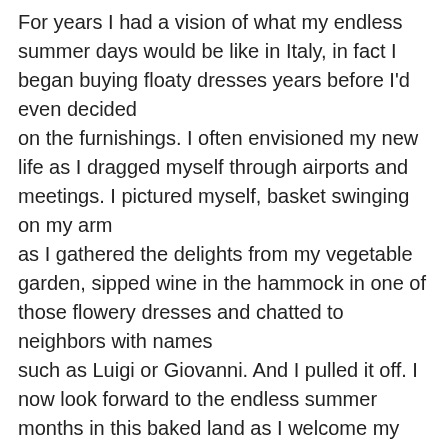For years I had a vision of what my endless summer days would be like in Italy, in fact I began buying floaty dresses years before I'd even decided on the furnishings. I often envisioned my new life as I dragged myself through airports and meetings. I pictured myself, basket swinging on my arm as I gathered the delights from my vegetable garden, sipped wine in the hammock in one of those flowery dresses and chatted to neighbors with names such as Luigi or Giovanni. And I pulled it off. I now look forward to the endless summer months in this baked land as I welcome my guests, family and friends. Summers in Tuscany are perfection. Enjoy yours, wherever you may be.